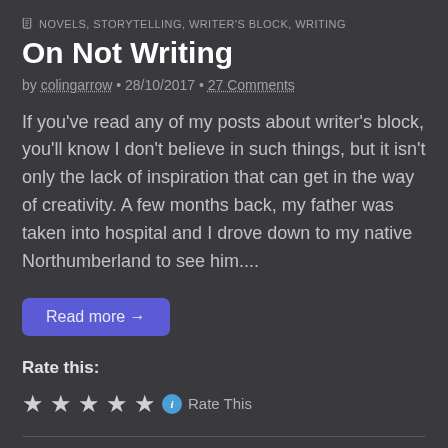NOVELS, STORYTELLING, WRITER'S BLOCK, WRITING
On Not Writing
by colingarrow • 28/10/2017 • 27 Comments
If you've read any of my posts about writer's block, you'll know I don't believe in such things, but it isn't only the lack of inspiration that can get in the way of creativity. A few months back, my father was taken into hospital and I drove down to my native Northumberland to see him....
Read more →
Rate this:
★★★★★ Rate This